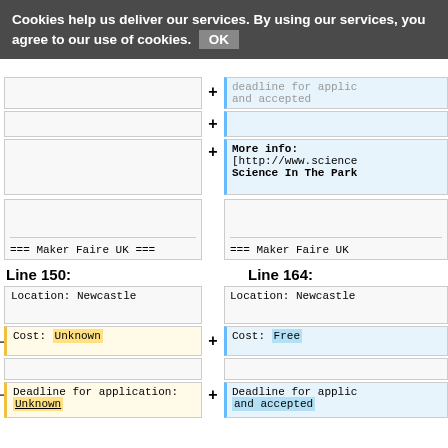Cookies help us deliver our services. By using our services, you agree to our use of cookies. OK
[Figure (screenshot): Wiki diff view showing two-column comparison of page edits. Left column shows old version, right column shows new version with additions/removals highlighted. Content includes 'deadline for applic and accepted', 'More info: [http://www.science Science In The Park', '=== Maker Faire UK ===' section headers, Line 150 and Line 164 labels, and table rows for Location: Newcastle, Cost: Unknown (removed) / Cost: Free (added), Deadline for application: Unknown (removed) / and accepted (added).]